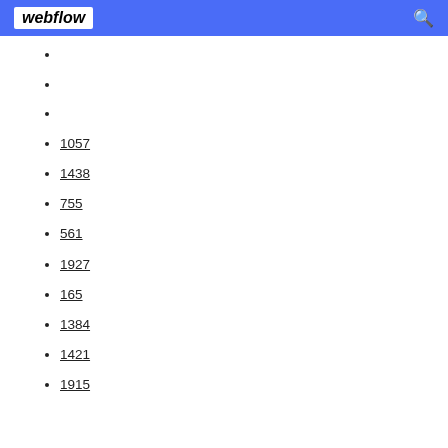webflow
1057
1438
755
561
1927
165
1384
1421
1915